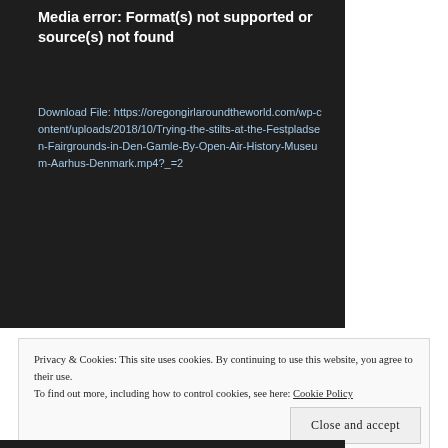Media error: Format(s) not supported or source(s) not found
Download File: https://oregongirlaroundtheworld.com/wp-content/uploads/2018/10/Trying-the-stilts-at-the-Festpladsen-Fairgrounds-in-Den-Gamle-By-Open-Air-History-Museum-Aarhus-Denmark.mp4?_=2
Privacy & Cookies: This site uses cookies. By continuing to use this website, you agree to their use.
To find out more, including how to control cookies, see here: Cookie Policy
Close and accept